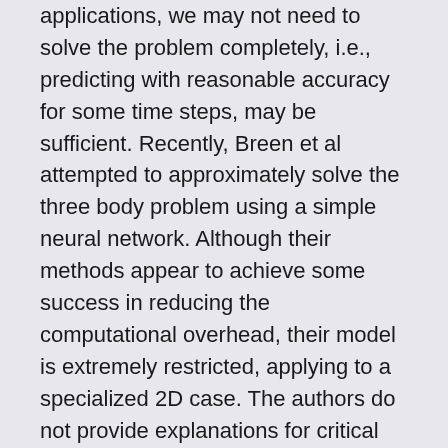applications, we may not need to solve the problem completely, i.e., predicting with reasonable accuracy for some time steps, may be sufficient. Recently, Breen et al attempted to approximately solve the three body problem using a simple neural network. Although their methods appear to achieve some success in reducing the computational overhead, their model is extremely restricted, applying to a specialized 2D case. The authors do not provide explanations for critical decisions taken in their experimental design, no details on their model or architecture, and nor do they publish their code. Moreover, the model does not generalize well to unseen cases. In this paper, we propose a detailed experimental setup to determine the feasibility of using neural networks to solve the three body problem up to a certain number of time steps. We establish a benchmark on the